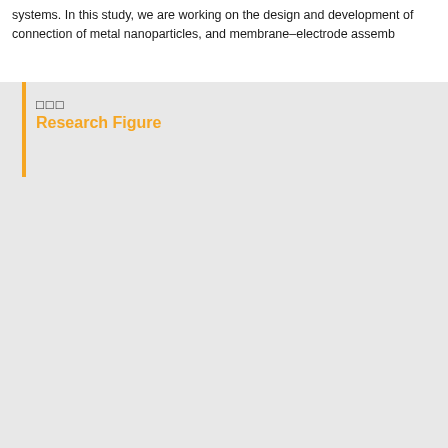systems. In this study, we are working on the design and development of connection of metal nanoparticles, and membrane–electrode assemb…
□□□
Research Figure
[Figure (other): Large gray empty research figure area]